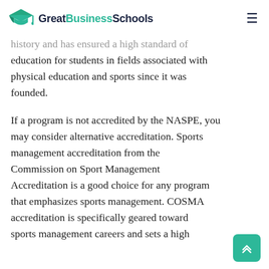GreatBusinessSchools
history and has ensured a high standard of education for students in fields associated with physical education and sports since it was founded.
If a program is not accredited by the NASPE, you may consider alternative accreditation. Sports management accreditation from the Commission on Sport Management Accreditation is a good choice for any program that emphasizes sports management. COSMA accreditation is specifically geared toward sports management careers and sets a high